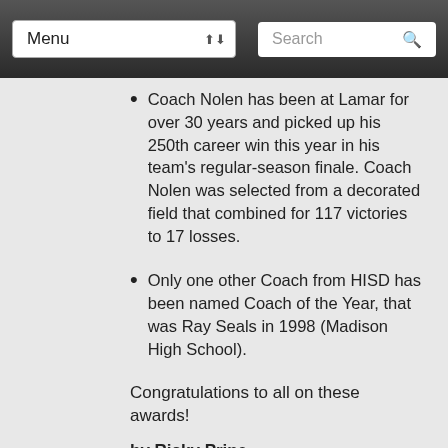Menu | Search
Coach Nolen has been at Lamar for over 30 years and picked up his 250th career win this year in his team's regular-season finale. Coach Nolen was selected from a decorated field that combined for 117 victories to 17 losses.
Only one other Coach from HISD has been named Coach of the Year, that was Ray Seals in 1998 (Madison High School).
Congratulations to all on these awards!
by Ricky Prine